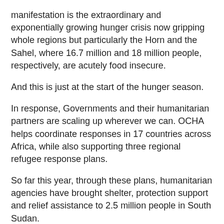manifestation is the extraordinary and exponentially growing hunger crisis now gripping whole regions but particularly the Horn and the Sahel, where 16.7 million and 18 million people, respectively, are acutely food insecure.
And this is just at the start of the hunger season.
In response, Governments and their humanitarian partners are scaling up wherever we can. OCHA helps coordinate responses in 17 countries across Africa, while also supporting three regional refugee response plans.
So far this year, through these plans, humanitarian agencies have brought shelter, protection support and relief assistance to 2.5 million people in South Sudan.
We provided 15 million people in the Sahel with food assistance, emergency education and malnutrition treatment. And in Mozambique, we provided food